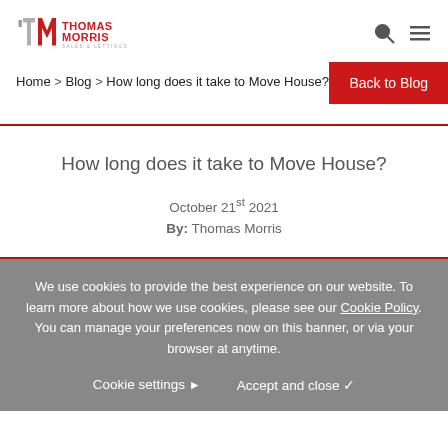Thomas Morris Sales & Lettings — logo and navigation icons
Home > Blog > How long does it take to Move House?
Back to Blog
How long does it take to Move House?
October 21st 2021
By: Thomas Morris
We use cookies to provide the best experience on our website. To learn more about how we use cookies, please see our Cookie Policy. You can manage your preferences now on this banner, or via your browser at anytime.
Cookie settings  Accept and close